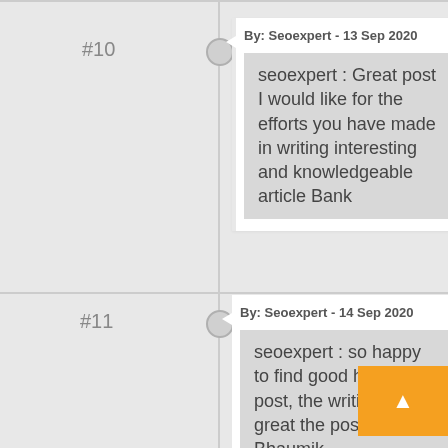#10
By: Seoexpert - 13 Sep 2020
seoexpert : Great post I would like for the efforts you have made in writing interesting and knowledgeable article Bank
#11
By: Seoexpert - 14 Sep 2020
seoexpert : so happy to find good here in the post, the writing is just great the post. Bhaumik